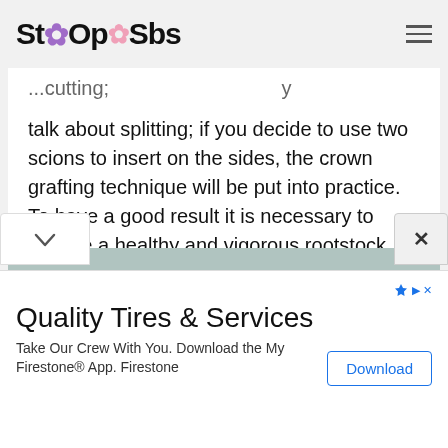StoOpSbs
talk about splitting; if you decide to use two scions to insert on the sides, the crown grafting technique will be put into practice. To have a good result it is necessary to choose a healthy and vigorous rootstock, free from pathologies that make it fragile; It is also essential to close the gap with the appropriate mastic, to avoid infiltration. The crown graft, on the other hand, must be completed by tying the scions with raffia and then covering with a cellophane bag, to be
[Figure (photo): Partial image strip at bottom of article content area]
Quality Tires & Services
Take Our Crew With You. Download the My Firestone® App. Firestone
Download